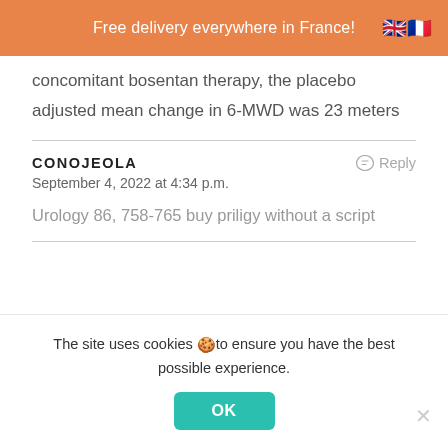Free delivery everywhere in France!
concomitant bosentan therapy, the placebo adjusted mean change in 6-MWD was 23 meters
CONOJEOLA
September 4, 2022 at 4:34 p.m.
Urology 86, 758-765 buy priligy without a script
The site uses cookies 🍪 to ensure you have the best possible experience.